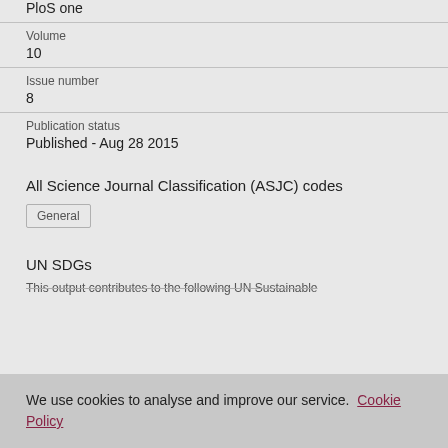PloS one
Volume
10
Issue number
8
Publication status
Published - Aug 28 2015
All Science Journal Classification (ASJC) codes
General
UN SDGs
This output contributes to the following UN Sustainable...
We use cookies to analyse and improve our service. Cookie Policy